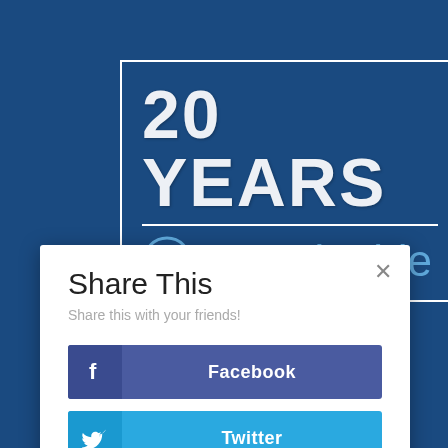[Figure (logo): 20 YEARS Sustainable logo badge on dark blue background with white border box, large bold white text '20 YEARS', horizontal white rule, circular logo icon and 'Sustainable' text in light blue]
Share This
Share this with your friends!
Facebook
Twitter